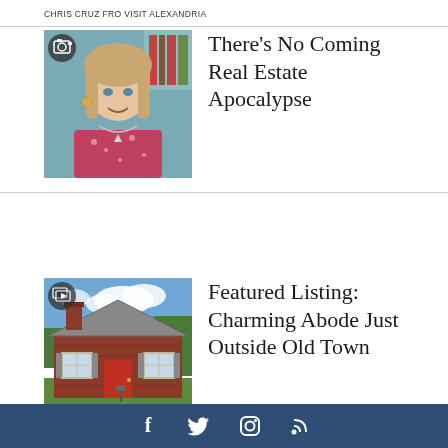CHRIS CRUZ FRO VISIT ALEXANDRIA
[Figure (photo): Woman with blonde hair smiling, wearing a red floral top, video thumbnail with camera icon badge]
There's No Coming Real Estate Apocalypse
[Figure (photo): Brick ranch-style house with red door and grey roof, green lawn, slideshow icon badge]
Featured Listing: Charming Abode Just Outside Old Town
f  Twitter  Instagram  RSS